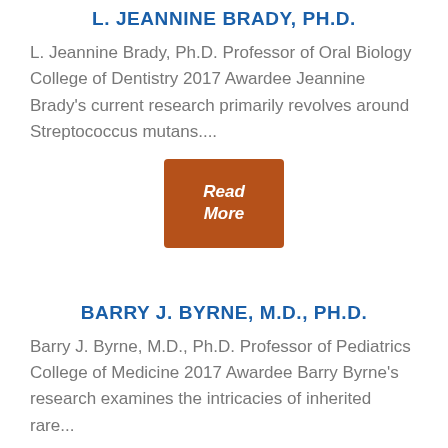L. JEANNINE BRADY, PH.D.
L. Jeannine Brady, Ph.D. Professor of Oral Biology College of Dentistry 2017 Awardee Jeannine Brady’s current research primarily revolves around Streptococcus mutans....
[Figure (other): Orange/brown 'Read More' button]
BARRY J. BYRNE, M.D., PH.D.
Barry J. Byrne, M.D., Ph.D. Professor of Pediatrics College of Medicine 2017 Awardee Barry Byrne’s research examines the intricacies of inherited rare...
[Figure (other): Orange/brown 'Read' button (partially visible)]